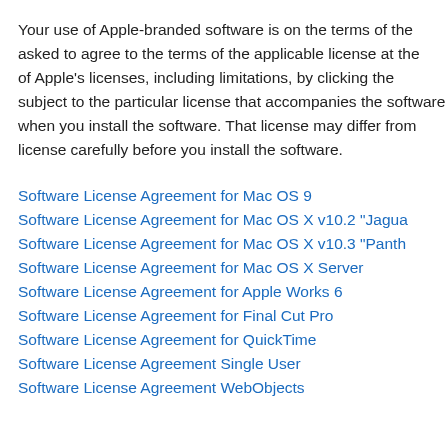Your use of Apple-branded software is on the terms of the applicable license at the time of Apple's licenses, including limitations, by clicking the subject to the particular license that accompanies the software when you install the software. That license may differ from license carefully before you install the software.
Software License Agreement for Mac OS 9
Software License Agreement for Mac OS X v10.2 "Jagua
Software License Agreement for Mac OS X v10.3 "Panth
Software License Agreement for Mac OS X Server
Software License Agreement for Apple Works 6
Software License Agreement for Final Cut Pro
Software License Agreement for QuickTime
Software License Agreement Single User
Software License Agreement WebObjects